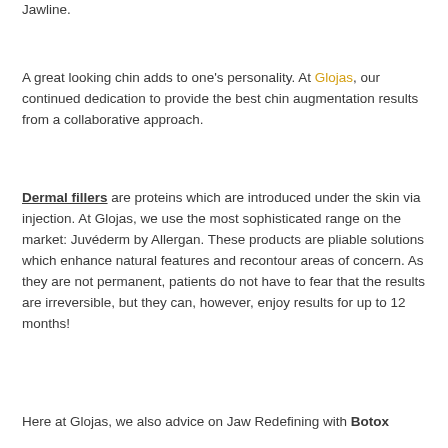Jawline.
A great looking chin adds to one's personality. At Glojas, our continued dedication to provide the best chin augmentation results from a collaborative approach.
Dermal fillers are proteins which are introduced under the skin via injection. At Glojas, we use the most sophisticated range on the market: Juvéderm by Allergan. These products are pliable solutions which enhance natural features and recontour areas of concern. As they are not permanent, patients do not have to fear that the results are irreversible, but they can, however, enjoy results for up to 12 months!
Here at Glojas, we also advice on Jaw Redefining with Botox